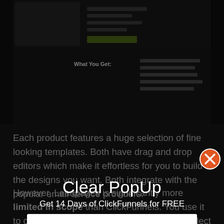[Figure (screenshot): Screenshot of a dark-themed landing page with a header image, form fields, and a 'What You Get:' section listing bullet points with a green button.]
Each product features a huge selection of fine looking templates. Both have drag and drop editors which make it effortless for you to build the designs you want. Both integrate with the popular email service providers.
However, Leadpages is significantly more limited in scope than ClickFunnels. You use it to create landing pages that can help you collect leads. This
[Figure (screenshot): Clear PopUp overlay with title 'Clear PopUp', subtitle 'Get 14 Days of ClickFunnels for FREE', and a 'GET FREE TRIAL' button. An orange X close button appears in the upper-right corner.]